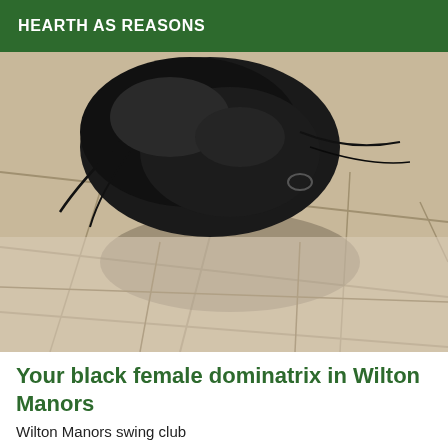HEARTH AS REASONS
[Figure (photo): Photo showing a person or object in black clothing/leather kneeling or bowed down on a beige/cream ceramic tile floor. The tiles have visible grout lines. The image is taken from a low angle looking down at the floor.]
Your black female dominatrix in Wilton Manors
Wilton Manors swing club